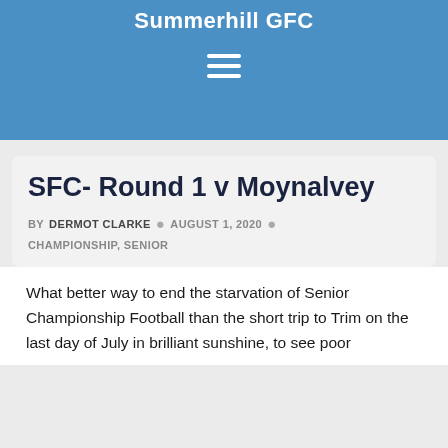Summerhill GFC
SFC- Round 1 v Moynalvey
BY DERMOT CLARKE · AUGUST 1, 2020 · CHAMPIONSHIP, SENIOR
What better way to end the starvation of Senior Championship Football than the short trip to Trim on the last day of July in brilliant sunshine, to see poor